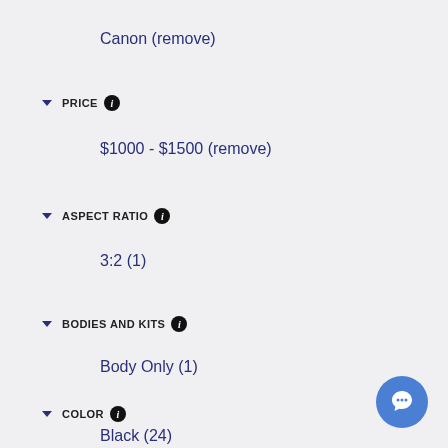Canon (remove)
PRICE
$1000 - $1500 (remove)
ASPECT RATIO
3:2 (1)
BODIES AND KITS
Body Only (1)
COLOR
Black (24)